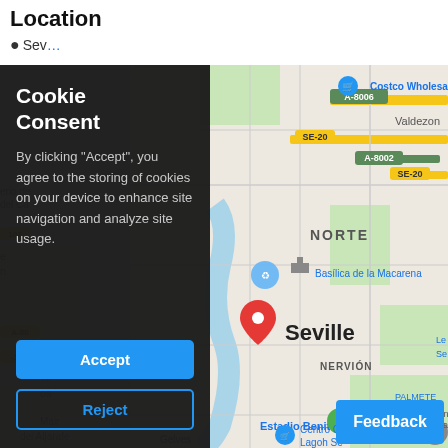Location
Seville
[Figure (map): Google Maps screenshot showing Seville, Spain with location pin. Visible landmarks include Basílica de la Macarena, Estadio Benito Villamarín, Costco Wholesale Seville, road labels A-8006, SE-20, A-8002, A-80, -3402, and neighborhoods NORTE, NERVIÓN, PALMETE, LAS 3000 VIVIENDAS. Also shows Mairena del Aljarafe, Gelves, Valdezon partially visible.]
Cookie Consent
By clicking "Accept", you agree to the storing of cookies on your device to enhance site navigation and analyze site usage.
Accept
Reject
Feedback